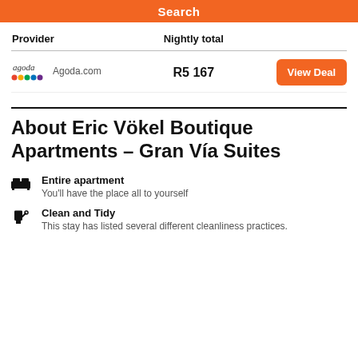[Figure (screenshot): Orange search button bar at top]
| Provider | Nightly total |
| --- | --- |
| Agoda.com | R5 167 |
About Eric Vökel Boutique Apartments - Gran Vía Suites
Entire apartment — You'll have the place all to yourself
Clean and Tidy — This stay has listed several different cleanliness practices.